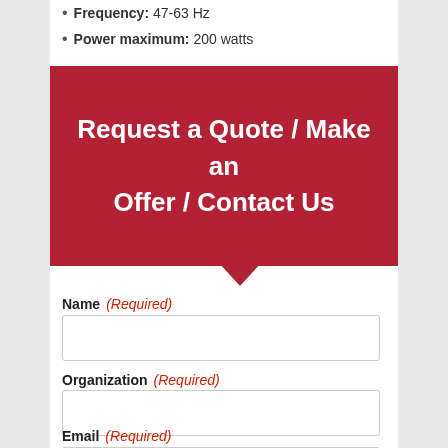Frequency: 47-63 Hz
Power maximum: 200 watts
[Figure (infographic): Red banner/button with white bold text reading: Request a Quote / Make an Offer / Contact Us, with a downward-pointing arrow at the bottom center]
Name (Required)
Organization (Required)
Email (Required)